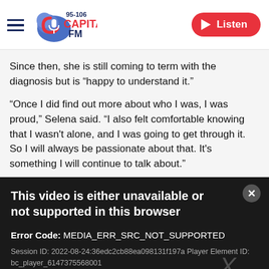Capital FM 95-106 | Listen
Since then, she is still coming to term with the diagnosis but is “happy to understand it.”
“Once I did find out more about who I was, I was proud,” Selena said. “I also felt comfortable knowing that I wasn't alone, and I was going to get through it. So I will always be passionate about that. It's something I will continue to talk about.”
[Figure (screenshot): Video player error box with dark background. Title: 'This video is either unavailable or not supported in this browser'. Error Code: MEDIA_ERR_SRC_NOT_SUPPORTED. Session ID: 2022-08-24:36edc2cb88ea098131f197a Player Element ID: bc_player_6147375568001. Close button (x) top right. Large X watermark.]